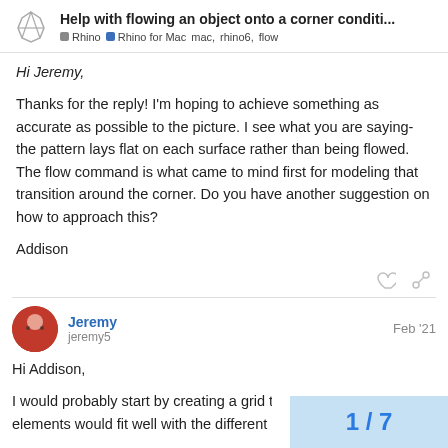Help with flowing an object onto a corner conditi... | Rhino | Rhino for Mac | mac, rhino6, flow
Hi Jeremy,
Thanks for the reply! I'm hoping to achieve something as accurate as possible to the picture. I see what you are saying- the pattern lays flat on each surface rather than being flowed. The flow command is what came to mind first for modeling that transition around the corner. Do you have another suggestion on how to approach this?
Addison
Jeremy
jeremysfebruary '21
Hi Addison,
I would probably start by creating a grid to elements would fit well with the different le
1 / 7